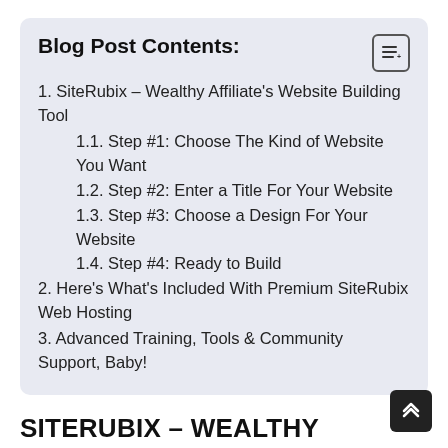Blog Post Contents:
1. SiteRubix – Wealthy Affiliate's Website Building Tool
1.1. Step #1: Choose The Kind of Website You Want
1.2. Step #2: Enter a Title For Your Website
1.3. Step #3: Choose a Design For Your Website
1.4. Step #4: Ready to Build
2. Here's What's Included With Premium SiteRubix Web Hosting
3. Advanced Training, Tools & Community Support, Baby!
SITERUBIX – WEALTHY AFFILIATE'S WEBSITE BUILDING TOOL
The cool part about Wealthy Affiliate (WA) is that